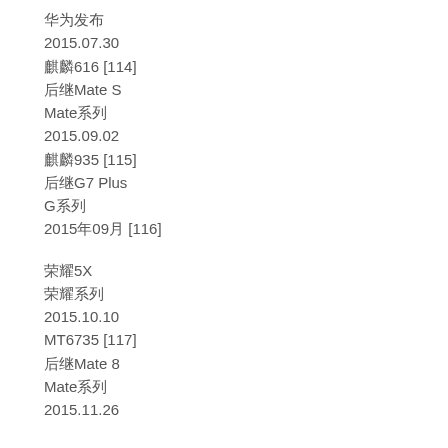华为发布
2015.07.30
麒麟616 [114]
后继Mate S
Mate系列
2015.09.02
麒麟935 [115]
后继G7 Plus
G系列
2015年09月 [116]
荣耀5X
荣耀系列
2015.10.10
MT6735 [117]
后继Mate 8
Mate系列
2015.11.26